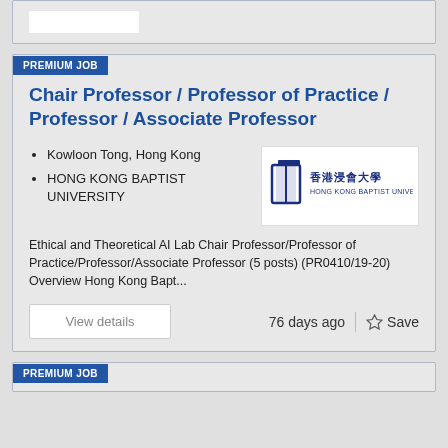[Figure (other): Top portion of a previous job card, partially visible, with a white rectangular element]
PREMIUM JOB
Chair Professor / Professor of Practice / Professor / Associate Professor
Kowloon Tong, Hong Kong
HONG KONG BAPTIST UNIVERSITY
[Figure (logo): Hong Kong Baptist University logo with Chinese characters 香港浸會大學 and English text HONG KONG BAPTIST UNIVERSITY]
Ethical and Theoretical AI Lab Chair Professor/Professor of Practice/Professor/Associate Professor (5 posts) (PR0410/19-20) Overview Hong Kong Bapt...
View details
76 days ago
Save
PREMIUM JOB